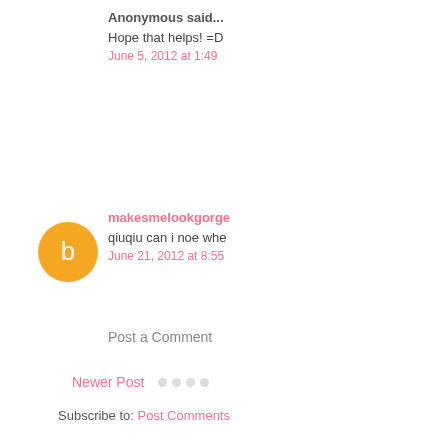Anonymous said...
Hope that helps! =D
June 5, 2012 at 1:49
makesmelookgorge
qiuqiu can i noe whe
June 21, 2012 at 8:55
Post a Comment
Newer Post
Subscribe to: Post Comments